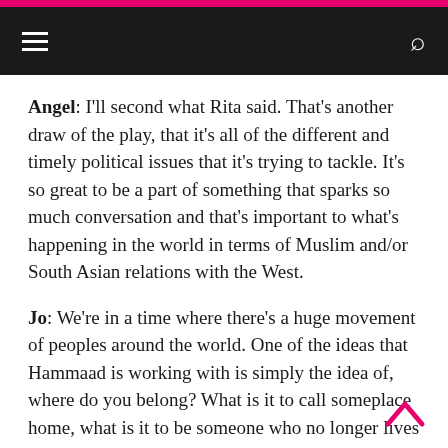Navigation bar with hamburger menu and search icon
Angel: I'll second what Rita said. That's another draw of the play, that it's all of the different and timely political issues that it's trying to tackle. It's so great to be a part of something that sparks so much conversation and that's important to what's happening in the world in terms of Muslim and/or South Asian relations with the West.
Jo: We're in a time where there's a huge movement of peoples around the world. One of the ideas that Hammaad is working with is simply the idea of, where do you belong? What is it to call someplace home, what is it to be someone who no longer lives in your family's country of origin? You end up in another country, or you're the first generation in that country, and you also are having children, and